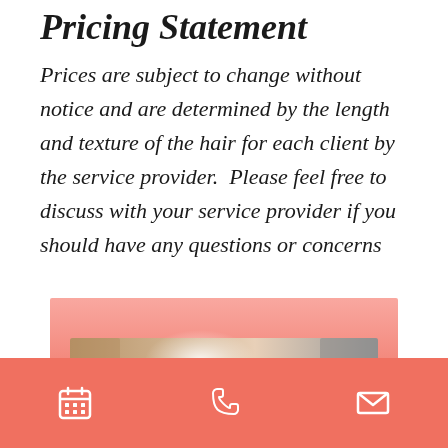Pricing Statement
Prices are subject to change without notice and are determined by the length and texture of the hair for each client by the service provider.  Please feel free to discuss with your service provider if you should have any questions or concerns
[Figure (photo): Pink gradient background with a close-up photo of hair styling tools/hair, partially visible at bottom]
Calendar icon | Phone icon | Envelope icon